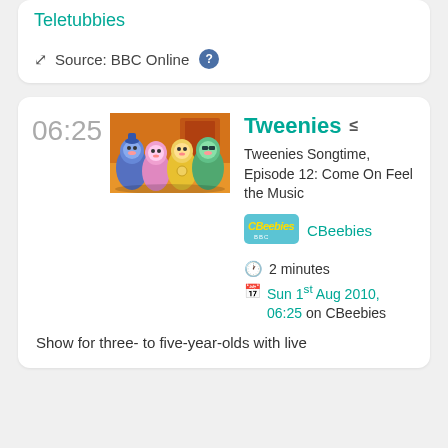Teletubbies
Source: BBC Online
06:25
[Figure (photo): Photo of four Tweenies puppet characters standing together in a colourful set]
Tweenies
Tweenies Songtime, Episode 12: Come On Feel the Music
[Figure (logo): CBeebies BBC logo badge]
CBeebies
2 minutes
Sun 1st Aug 2010, 06:25 on CBeebies
Show for three- to five-year-olds with live